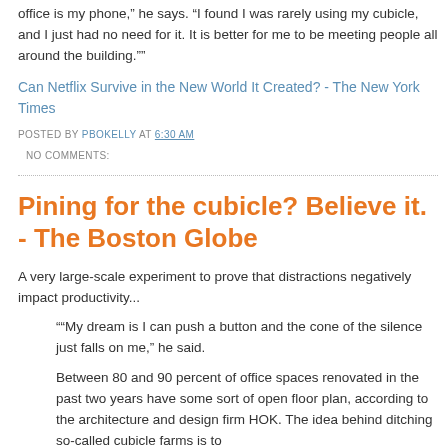office is my phone," he says. "I found I was rarely using my cubicle, and I just had no need for it. It is better for me to be meeting people all around the building.""
Can Netflix Survive in the New World It Created? - The New York Times
POSTED BY PBOKELLY AT 6:30 AM
  NO COMMENTS:
Pining for the cubicle? Believe it. - The Boston Globe
A very large-scale experiment to prove that distractions negatively impact productivity...
""My dream is I can push a button and the cone of the silence just falls on me," he said.
Between 80 and 90 percent of office spaces renovated in the past two years have some sort of open floor plan, according to the architecture and design firm HOK. The idea behind ditching so-called cubicle farms is to